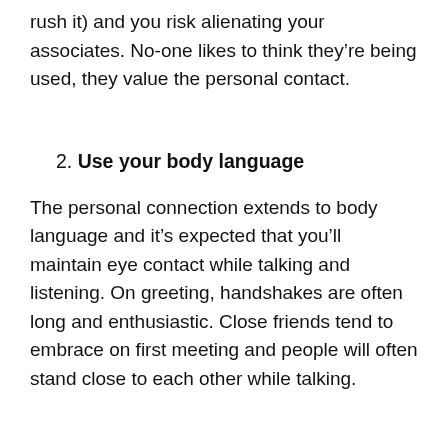rush it) and you risk alienating your associates. No-one likes to think they're being used, they value the personal contact.
2. Use your body language
The personal connection extends to body language and it's expected that you'll maintain eye contact while talking and listening. On greeting, handshakes are often long and enthusiastic. Close friends tend to embrace on first meeting and people will often stand close to each other while talking.
3. Don't take time too seriously
Many Brazilians take a somewhat ‘approximate’ view of punctuality. Meetings don’t necessarily start bang on time and a bit of a wait may be considered normal. This doesn’t indicate a lack of consideration or interest, it’s